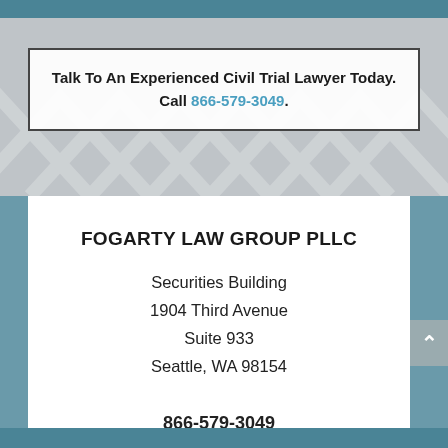Talk To An Experienced Civil Trial Lawyer Today. Call 866-579-3049.
FOGARTY LAW GROUP PLLC
Securities Building
1904 Third Avenue
Suite 933
Seattle, WA 98154
866-579-3049
Fax: 206-826-9405